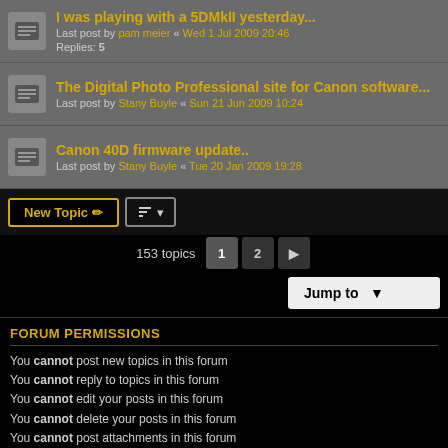I was playing with a 5DMkII yesterday... Last post by pam meier « Wed 1 Jul 2009 20:46 Replies: 5
The Digital Photo Professional site for Canon software... Last post by Stany Buyle « Sun 21 Jun 2009 10:24
Canon 40D firmware update.. Last post by Stany Buyle « Tue 20 Jan 2009 19:28
153 topics  1  2  >
Jump to
FORUM PERMISSIONS
You cannot post new topics in this forum
You cannot reply to topics in this forum
You cannot edit your posts in this forum
You cannot delete your posts in this forum
You cannot post attachments in this forum
Board index  |  Delete cookies  All times are UTC+01:00
Powered by phpBB® Forum Software © phpBB Limited
Privacy | Terms